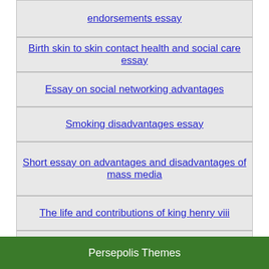endorsements essay
Birth skin to skin contact health and social care essay
Essay on social networking advantages
Smoking disadvantages essay
Short essay on advantages and disadvantages of mass media
The life and contributions of king henry viii
War and peace essay outline
Imitation plato and aristotle essay
Advantages of nuclear technology essay
Persepolis Themes